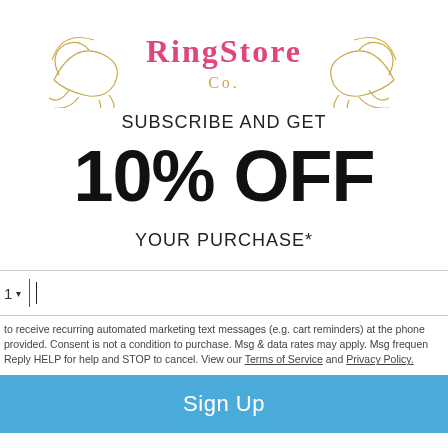[Figure (logo): Decorative brand logo with pink and gold floral/script design at the top of the page]
SUBSCRIBE AND GET
10% OFF
YOUR PURCHASE*
1 ▾ | (phone input field)
to receive recurring automated marketing text messages (e.g. cart reminders) at the phone provided. Consent is not a condition to purchase. Msg & data rates may apply. Msg frequency. Reply HELP for help and STOP to cancel. View our Terms of Service and Privacy Policy.
Sign Up
No Thanks